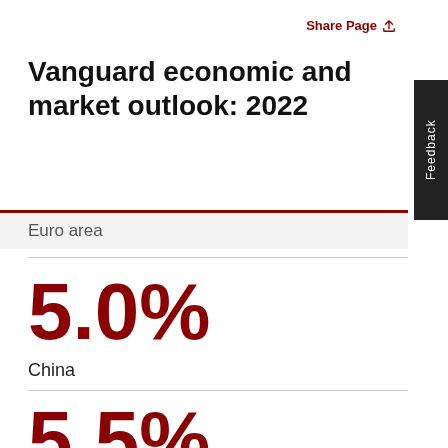Share Page
Vanguard economic and market outlook: 2022
Euro area
5.0%
China
5.5%